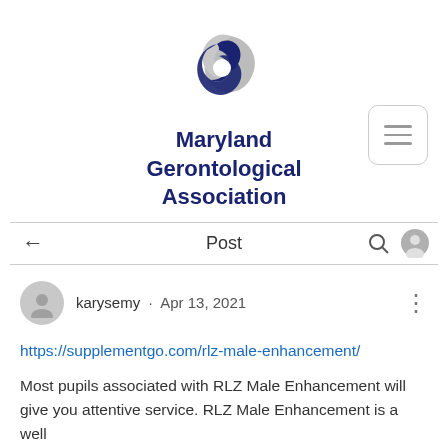[Figure (logo): Maryland Gerontological Association logo: interlocking navy blue and gray swirl circles]
Maryland Gerontological Association
Post
karysemy · Apr 13, 2021
https://supplementgo.com/rlz-male-enhancement/
Most pupils associated with RLZ Male Enhancement will give you attentive service. RLZ Male Enhancement is a well